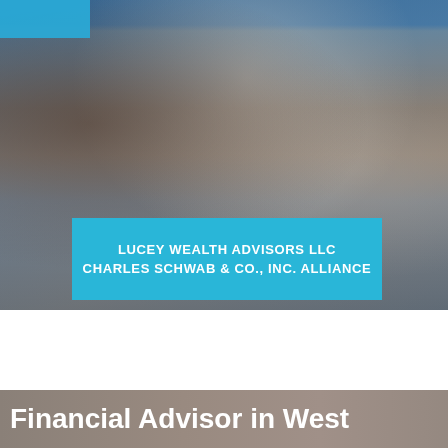[Figure (photo): Background photo of a hand with papers/documents on a table, with a blue-grey overlay giving a professional financial advisory appearance.]
LUCEY WEALTH ADVISORS LLC
CHARLES SCHWAB & CO., INC. ALLIANCE
Financial Advisor in West